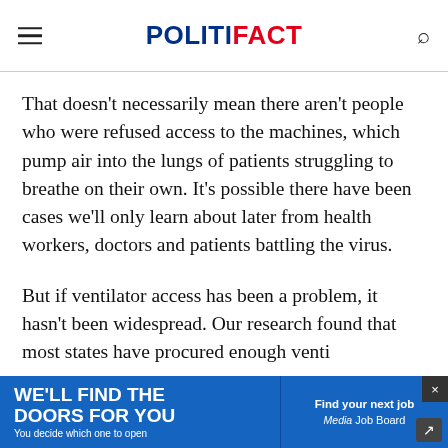POLITIFACT
That doesn't necessarily mean there aren't people who were refused access to the machines, which pump air into the lungs of patients struggling to breathe on their own. It's possible there have been cases we'll only learn about later from health workers, doctors and patients battling the virus.
But if ventilator access has been a problem, it hasn't been widespread. Our research found that most states have procured enough venti...
[Figure (infographic): Blue advertisement banner at bottom: left side reads WE'LL FIND THE DOORS FOR YOU / You decide which one to open with a figure walking. Right side reads Find your next job / Media Job Board. A dark close button with X in top right corner and share icon at bottom right.]